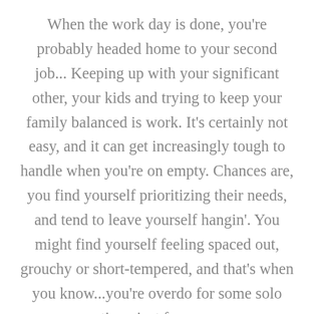When the work day is done, you're probably headed home to your second job... Keeping up with your significant other, your kids and trying to keep your family balanced is work. It's certainly not easy, and it can get increasingly tough to handle when you're on empty. Chances are, you find yourself prioritizing their needs, and tend to leave yourself hangin'. You might find yourself feeling spaced out, grouchy or short-tempered, and that's when you know...you're overdo for some solo time, just for you.